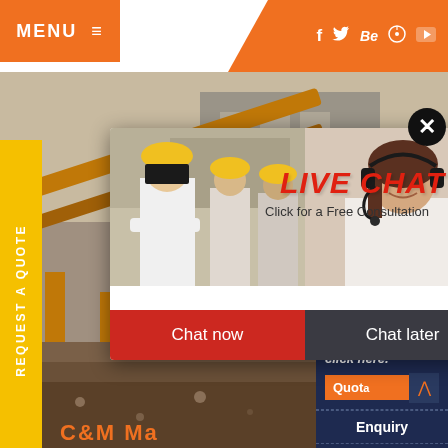MENU ☰
[Figure (screenshot): Website header with orange MENU button on left, orange chevron shape on right with social media icons (f, Twitter bird, Be, Pinterest, YouTube)]
[Figure (photo): Yellow vertical sidebar tab with rotated text: REQUEST A QUOTE]
[Figure (photo): Background photo of mining/quarry equipment (conveyor belt, yellow machinery) with orange C&M Ma... text at bottom]
[Figure (infographic): Live chat popup overlay showing construction workers in hard hats and customer service agent with headset. Contains LIVE CHAT heading in red italic, subtext 'Click for a Free Consultation', Chat now button in red, Chat later button in dark gray, and a close X button]
LIVE CHAT
Click for a Free Consultation
Chat now
Chat later
Have any requests, click here.
Quota
Enquiry
drobilkalm